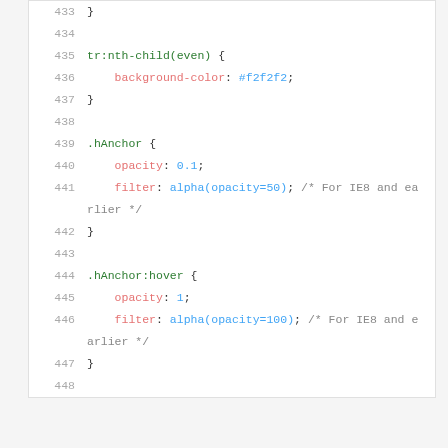[Figure (screenshot): Syntax-highlighted CSS code block showing lines 433-448 with line numbers. Contains CSS rules for tr:nth-child(even), .hAnchor, and .hAnchor:hover selectors with background-color, opacity, and filter properties.]